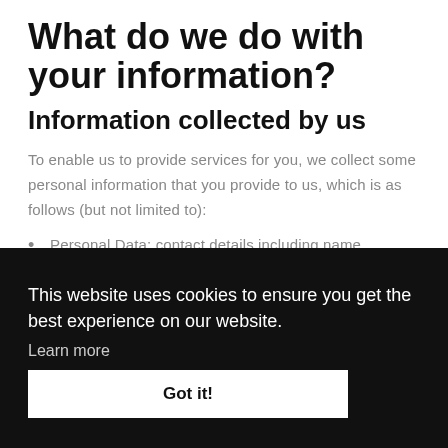What do we do with your information?
Information collected by us
To enable us to provide services for you, we collect some personal information that you provide to us, which is as follows (but not limited to):
Personal Data: contact details including name, address, email, phone details, mobile number, etc. Photographic ID, National Insurance number, date of birth, nationality, bank details, references
Sensitive Personal Data: medical records, photos, racial or ethnic origin etc.
This website uses cookies to ensure you get the best experience on our website.
Learn more
Got it!
How we use your personal